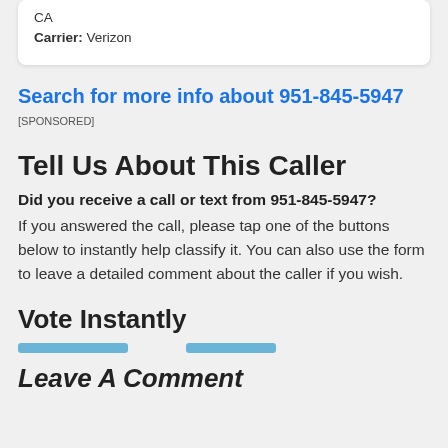CA
Carrier: Verizon
Search for more info about 951-845-5947
[SPONSORED]
Tell Us About This Caller
Did you receive a call or text from 951-845-5947?
If you answered the call, please tap one of the buttons below to instantly help classify it. You can also use the form to leave a detailed comment about the caller if you wish.
Vote Instantly
Leave A Comment